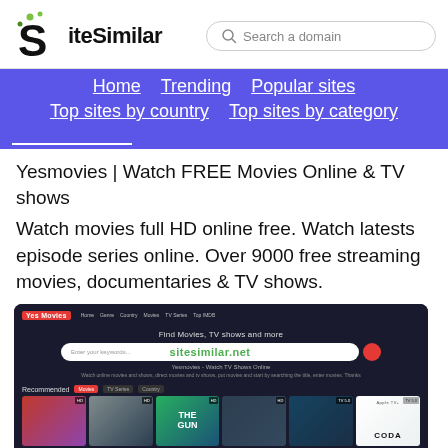SiteSimilar — Search a domain
Home  Trending  Popular sites  Top sites by country  Top sites by category
Yesmovies | Watch FREE Movies Online & TV shows
Watch movies full HD online free. Watch latests episode series online. Over 9000 free streaming movies, documentaries & TV shows.
[Figure (screenshot): Screenshot of Yesmovies website showing its dark-themed homepage with a search bar, navigation links, recommended movies section, and movie thumbnails. A sitesimilar.net watermark is overlaid.]